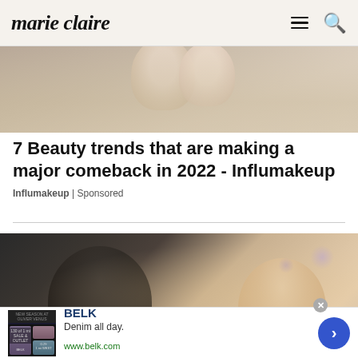marie claire
[Figure (photo): Partial top portion of a photo showing blonde hair, blurry background]
7 Beauty trends that are making a major comeback in 2022 - Influmakeup
Influmakeup | Sponsored
[Figure (photo): Ben Affleck and Jennifer Lopez looking at each other at a formal event, man in tuxedo, woman with blonde hair]
[Figure (photo): Advertisement banner: BELK - Denim all day. www.belk.com with denim fashion thumbnail image]